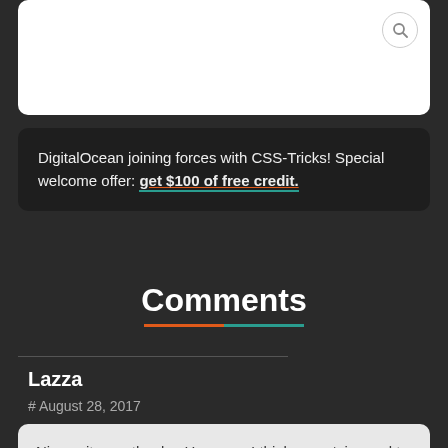DigitalOcean joining forces with CSS-Tricks! Special welcome offer: get $100 of free credit.
Comments
Lazza
# August 28, 2017
Nice write-up, thanks. However, I think const is used to define constants, not variables.